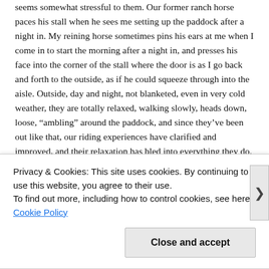seems somewhat stressful to them. Our former ranch horse paces his stall when he sees me setting up the paddock after a night in. My reining horse sometimes pins his ears at me when I come in to start the morning after a night in, and presses his face into the corner of the stall where the door is as I go back and forth to the outside, as if he could squeeze through into the aisle. Outside, day and night, not blanketed, even in very cold weather, they are totally relaxed, walking slowly, heads down, loose, “ambling” around the paddock, and since they’ve been out like that, our riding experiences have clarified and improved, and their relaxation has bled into everything they do.
Privacy & Cookies: This site uses cookies. By continuing to use this website, you agree to their use.
To find out more, including how to control cookies, see here: Cookie Policy